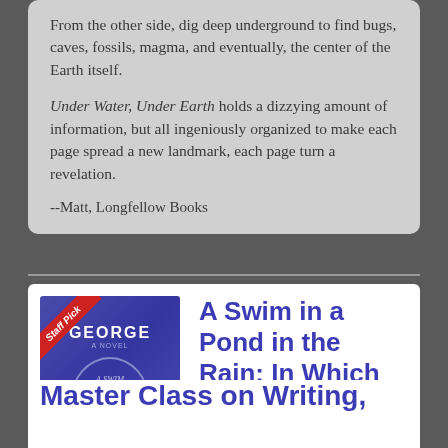From the other side, dig deep underground to find bugs, caves, fossils, magma, and eventually, the center of the Earth itself.

Under Water, Under Earth holds a dizzying amount of information, but all ingeniously organized to make each page spread a new landmark, each page turn a revelation.

--Matt, Longfellow Books
[Figure (illustration): Book cover of 'A Swim in a Pond in the Rain' by George Saunders, shown with a red 'Staff Pick' ribbon in upper left corner. Cover has a blue/purple background with an oval design containing the book title.]
A Swim in a Pond in the Rain: In Which Four Russians Give a Master Class on Writing,